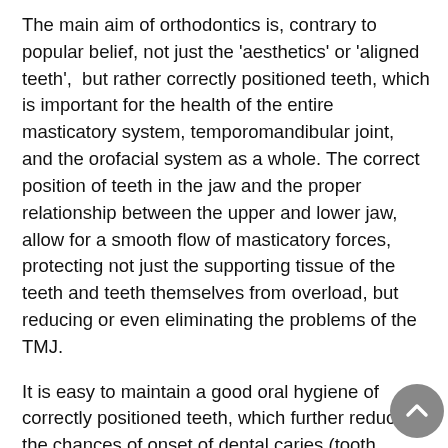The main aim of orthodontics is, contrary to popular belief, not just the 'aesthetics' or 'aligned teeth', but rather correctly positioned teeth, which is important for the health of the entire masticatory system, temporomandibular joint, and the orofacial system as a whole. The correct position of teeth in the jaw and the proper relationship between the upper and lower jaw, allow for a smooth flow of masticatory forces, protecting not just the supporting tissue of the teeth and teeth themselves from overload, but reducing or even eliminating the problems of the TMJ.
It is easy to maintain a good oral hygiene of correctly positioned teeth, which further reduces the chances of onset of dental caries (tooth decay) and periodontal problems. There is no age limit for orthodontist therapy or wearing fixed braces – any time is a good time for a beautiful smile.